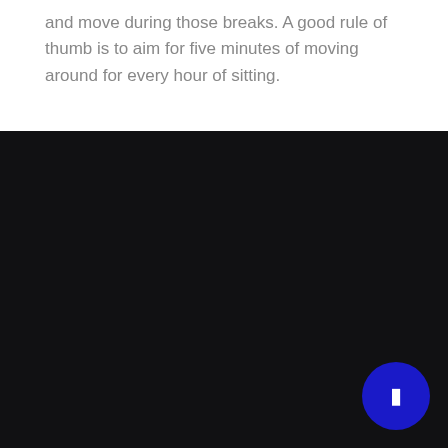and move during those breaks. A good rule of thumb is to aim for five minutes of moving around for every hour of sitting.
[Figure (other): Dark background section with a blue circular navigation button in the bottom right corner containing a right-arrow icon.]